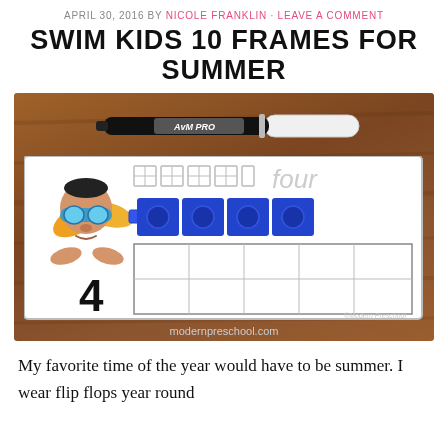APRIL 30, 2016 BY NICOLE FRANKLIN · LEAVE A COMMENT
SWIM KIDS 10 FRAMES FOR SUMMER
[Figure (photo): Photo of a ten-frame math card on a wooden table, showing a swim kid character, the number 4, four blue interlocking cubes placed on the frame, and the word 'four'. A black marker pen rests above the card. Website watermark: modernpreschool.com]
My favorite time of the year would have to be summer. I wear flip flops year round